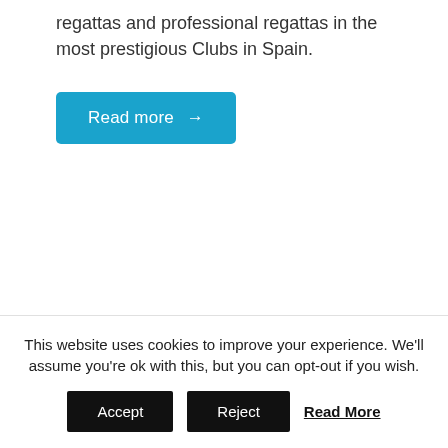regattas and professional regattas in the most prestigious Clubs in Spain.
Read more →
[Figure (other): Gray advertisement or image placeholder section]
This website uses cookies to improve your experience. We'll assume you're ok with this, but you can opt-out if you wish.
Accept
Reject
Read More